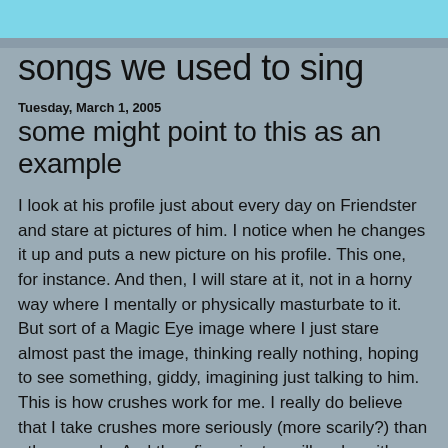songs we used to sing
Tuesday, March 1, 2005
some might point to this as an example
I look at his profile just about every day on Friendster and stare at pictures of him. I notice when he changes it up and puts a new picture on his profile. This one, for instance. And then, I will stare at it, not in a horny way where I mentally or physically masturbate to it. But sort of a Magic Eye image where I just stare almost past the image, thinking really nothing, hoping to see something, giddy, imagining just talking to him. This is how crushes work for me. I really do believe that I take crushes more seriously (more scarily?) than other people. And then five minutes will go by with me staring at my computer screen and I will ask myself rhetorically what I am doing, because really I know the answer to it, have always known the answer whenever I have pretended to ask myself the question about crushes.